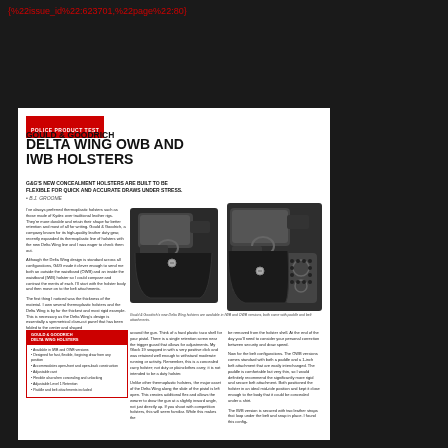{"%22issue_id%22:623701,%22page%22:80}
GOULD & GOODRICH
DELTA WING OWB AND IWB HOLSTERS
G&G'S NEW CONCEALMENT HOLSTERS ARE BUILT TO BE FLEXIBLE FOR QUICK AND ACCURATE DRAWS UNDER STRESS.
• B.J. GROOME
I've always preferred thermoplastic holsters such as those made of Kydex over traditional leather rigs. They're more durable and retain their shape far better retention and most of all for writing. Gould & Goodrich, a company known for its high-quality leather duty gear, recently expanded its thermoplastic line of holsters with the new Delta Wing line and I was eager to check them out.

Although the Delta Wing design is standard across all configurations, G&G made it clever enough to send me both an outside the waistband (OWB) and an inside the waistband (IWB) holster so I could compare and contrast the merits of each. I'll start with the holster body and then move on to the belt attachments.

The first thing I noticed was the thickness of the material. I own several thermoplastic holsters and the Delta Wing is by far the thickest and most rigid example. This is necessary as the Delta Wing's design is essentially a symmetrical clam-cut panel that has been folded to the center and shaped
[Figure (photo): Two Delta Wing holsters - left shows IWB version with gun, right shows OWB version with gun and paddle attachment]
Gould & Goodrich's new Delta Wing holsters are available in IWB and OWB versions, both come with paddle and belt attachments.
| GOULD & GOODRICH DELTA WING HOLSTERS |
| --- |
| Available in IWB and OWB versions |
| Designed for fast, flexible, forgiving draw from any position |
| Accommodates open-front and open-back construction |
| Adjustable cant |
| Flexible also when concealing and unlocking |
| Adjustable Level 1 Retention |
| Paddle and belt attachments included |
around the gun. Think of a hard plastic taco shell for your pistol. There is a single retention screw near the trigger guard that allows for adjustments. My Glock 19 snapped in with a very positive click and was retained well enough to withstand moderate running or activity. Remember, this is a concealed carry holster not duty or plainclothes carry; it is not intended to be a duty holster.

Unlike other thermoplastic holsters, the major asset of the Delta Wing along the slide of the pistol is left open. This creates additional flex and allows the wearer to draw the gun at a slightly inward angle, not just directly up. If you shoot with competition holsters, this will seem familiar. While this makes the
be secured from the holster shell. At the end of the day you'll need to consider your personal correction between security and draw speed.

Now for the belt configurations. The OWB versions comes standard with both a paddle and a 1-inch belt attachment that are easily interchanged. The paddle is comfortable but very thin, so I would definitely recommend the significantly more rigid and secure belt attachment. Both positioned the holster in an ideal mid-ride position and kept it close enough to the body that it could be concealed under a shirt.

The IWB version is secured with two leather straps that loop under the belt and snap in place. I found this config-